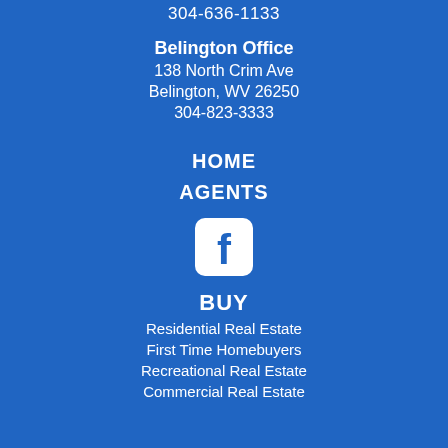304-636-1133
Belington Office
138 North Crim Ave
Belington, WV 26250
304-823-3333
HOME
AGENTS
[Figure (logo): Facebook icon - white rounded square with white 'f' letter logo]
BUY
Residential Real Estate
First Time Homebuyers
Recreational Real Estate
Commercial Real Estate